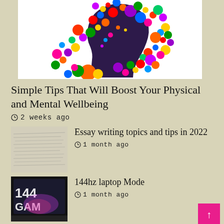[Figure (illustration): Colorful circles/dots exploding from a silhouette of a human head profile, representing mental wellness and creativity]
Simple Tips That Will Boost Your Physical and Mental Wellbeing
2 weeks ago
[Figure (photo): Close-up photo of handwritten text on paper, blurred background]
Essay writing topics and tips in 2022
1 month ago
[Figure (photo): Photo of a laptop showing 144hz GAMING text with glowing light]
144hz laptop Mode
1 month ago